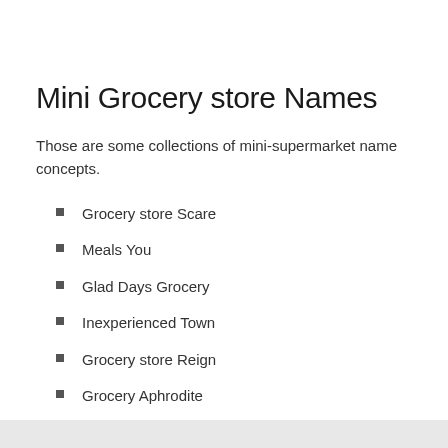Mini Grocery store Names
Those are some collections of mini-supermarket name concepts.
Grocery store Scare
Meals You
Glad Days Grocery
Inexperienced Town
Grocery store Reign
Grocery Aphrodite